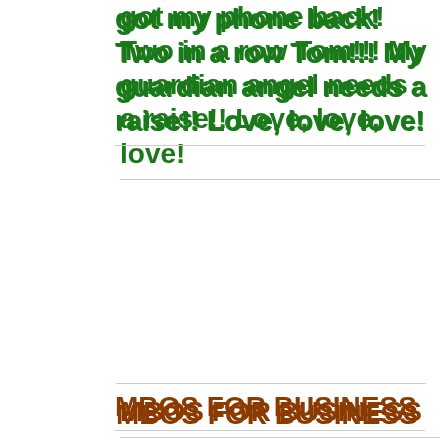got my phone back! Two in a row Tom!!! My guardian angel needs a raise!! Love, love, love!
MBOS FOR BUSINESS
Guatam in India writes: This month I had to learn new ways to do business, as in new learnings where I was getting stuck hinting...